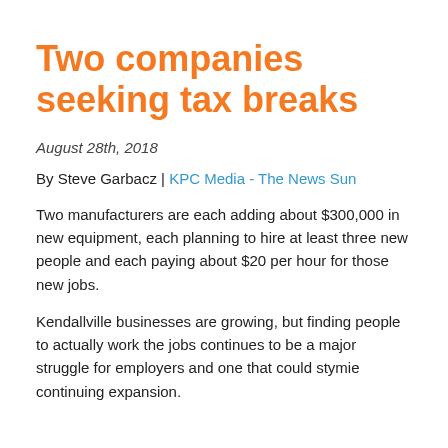Two companies seeking tax breaks
August 28th, 2018
By Steve Garbacz | KPC Media - The News Sun
Two manufacturers are each adding about $300,000 in new equipment, each planning to hire at least three new people and each paying about $20 per hour for those new jobs.
Kendallville businesses are growing, but finding people to actually work the jobs continues to be a major struggle for employers and one that could stymie continuing expansion.